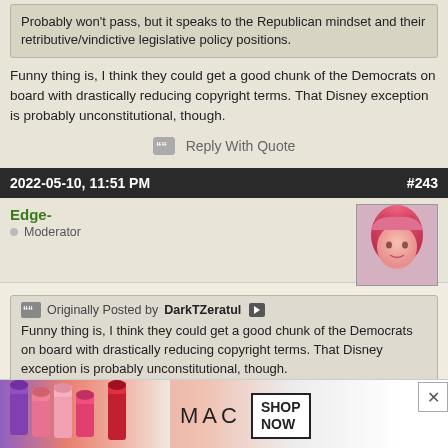Probably won't pass, but it speaks to the Republican mindset and their retributive/vindictive legislative policy positions.
Funny thing is, I think they could get a good chunk of the Democrats on board with drastically reducing copyright terms. That Disney exception is probably unconstitutional, though.
Reply With Quote
2022-05-10, 11:51 PM   #243
Edge-  Moderator
Originally Posted by DarkTZeratul
Funny thing is, I think they could get a good chunk of the Democrats on board with drastically reducing copyright terms. That Disney exception is probably unconstitutional, though.
Honestly...probably not. See the bill this thread is about : P
It's a common tactic to get around actual laws/limitations. It's like not being at...lessly illegal. B...t's race neutral -...
[Figure (photo): Advertisement banner for MAC cosmetics showing lipsticks in purple, pink and red colors with MAC logo and SHOP NOW button]